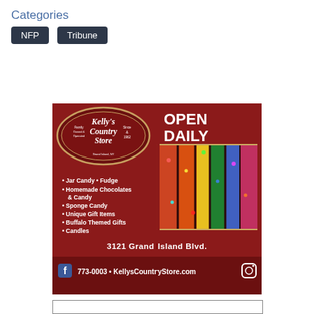Categories
NFP
Tribune
[Figure (infographic): Kelly's Country Store advertisement on dark red background. Shows store logo in oval, 'OPEN DAILY' heading, photo of candy, bullet list: Jar Candy, Fudge, Homemade Chocolates & Candy, Sponge Candy, Unique Gift Items, Buffalo Themed Gifts, Candles. Address: 3121 Grand Island Blvd. Contact: 773-0003 • KellysCountryStore.com with Facebook and Instagram icons.]